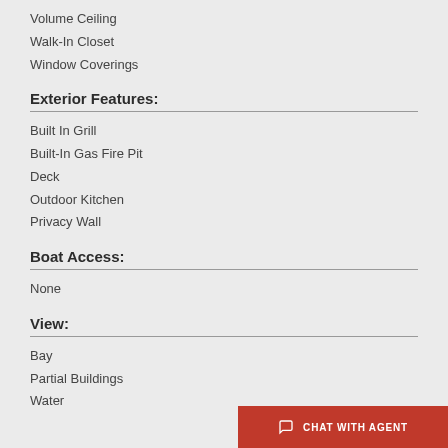Volume Ceiling
Walk-In Closet
Window Coverings
Exterior Features:
Built In Grill
Built-In Gas Fire Pit
Deck
Outdoor Kitchen
Privacy Wall
Boat Access:
None
View:
Bay
Partial Buildings
Water